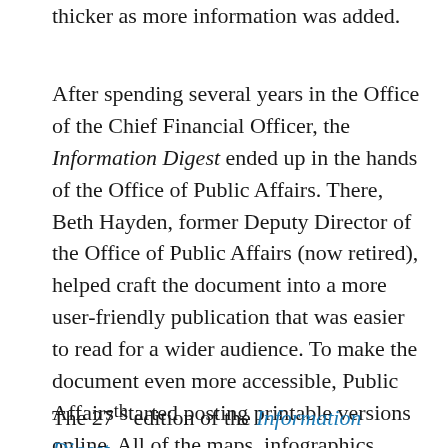thicker as more information was added.
After spending several years in the Office of the Chief Financial Officer, the Information Digest ended up in the hands of the Office of Public Affairs. There, Beth Hayden, former Deputy Director of the Office of Public Affairs (now retired), helped craft the document into a more user-friendly publication that was easier to read for a wider audience. To make the document even more accessible, Public Affairs started posting printable versions online. All of the maps, infographics, photographs, and data sets became available on the NRC Website.
The 27th edition of the Information Digest,